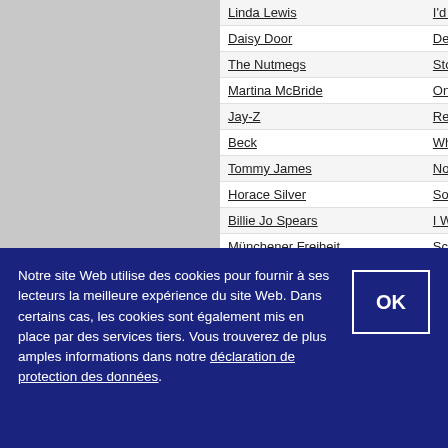| Artist | Song |
| --- | --- |
| Linda Lewis | I'd Be Su... |
| Daisy Door | Denn ich... |
| The Nutmegs | Story Un... |
| Martina McBride | Once A D... |
| Jay-Z | Regrets |
| Beck | Whiskey... |
| Tommy James | Nothing T... |
| Horace Silver | Song Fo... |
| Billie Jo Spears | I Will Sur... |
| Münchener Freiheit | Schuld w... |
| Spider Murphy Gang | Oa Nach... |
| The Housemartins | Freedom... |
| Heinz Rudolf Kunze | Balkonfrü... |
| Heinz Rudolf Kunze | Lisa |
| Deblanc | Monnalis... |
| Patrick Cowley | They Ca... |
| Trisha Yearwood & Garth Brooks | Where Y... |
| Rachel Steyee... | Breathe... |
Notre site Web utilise des cookies pour fournir à ses lecteurs la meilleure expérience du site Web. Dans certains cas, les cookies sont également mis en place par des services tiers. Vous trouverez de plus amples informations dans notre déclaration de protection des données.